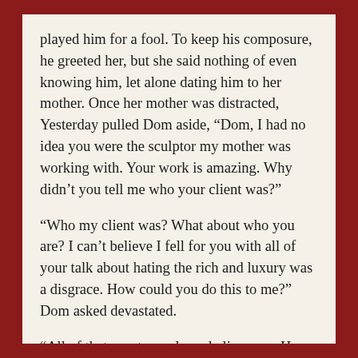played him for a fool.  To keep his composure, he greeted her, but she said nothing of even knowing him, let alone dating him to her mother.  Once her mother was distracted, Yesterday pulled Dom aside, “Dom, I had no idea you were the sculptor my mother was working with.  Your work is amazing.  Why didn’t you tell me who your client was?”
“Who my client was?  What about who you are? I can’t believe I fell for you with all of your talk about hating the rich and luxury was a disgrace.  How could you do this to me?” Dom asked devastated.
“All of that was true, please believe me. How could you think I was lying? You don’t…” Yesterday pleaded.
“I feel like I don’t know you at all.  You lied about who you really were. You betrayed my love I have for you.” Dom interrupted.  After looking at her with locked